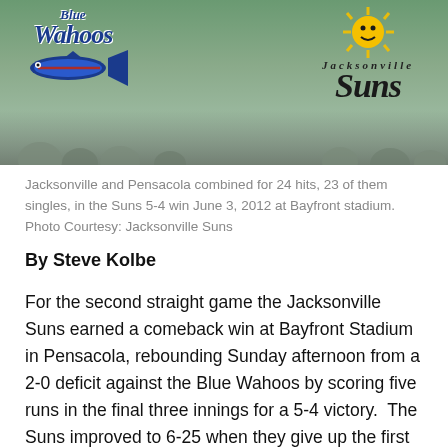[Figure (photo): Blue Wahoos and Jacksonville Suns team logos overlaid on a baseball stadium background with crowds visible]
Jacksonville and Pensacola combined for 24 hits, 23 of them singles, in the Suns 5-4 win June 3, 2012 at Bayfront stadium. Photo Courtesy: Jacksonville Suns
By Steve Kolbe
For the second straight game the Jacksonville Suns earned a comeback win at Bayfront Stadium in Pensacola, rebounding Sunday afternoon from a 2-0 deficit against the Blue Wahoos by scoring five runs in the final three innings for a 5-4 victory.  The Suns improved to 6-25 when they give up the first run of the game, with half